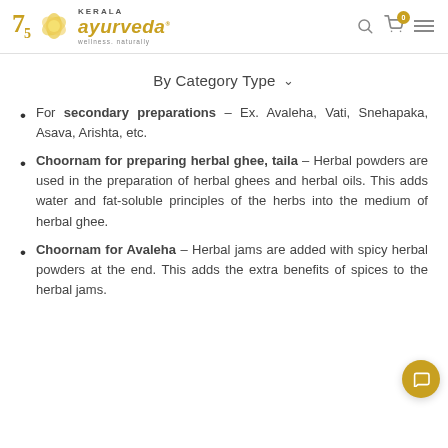Kerala Ayurveda - wellness. naturally
By Category Type
For secondary preparations – Ex. Avaleha, Vati, Snehapaka, Asava, Arishta, etc.
Choornam for preparing herbal ghee, taila – Herbal powders are used in the preparation of herbal ghees and herbal oils. This adds water and fat-soluble principles of the herbs into the medium of herbal ghee.
Choornam for Avaleha – Herbal jams are added with spicy herbal powders at the end. This adds the extra benefits of spices to the herbal jams.